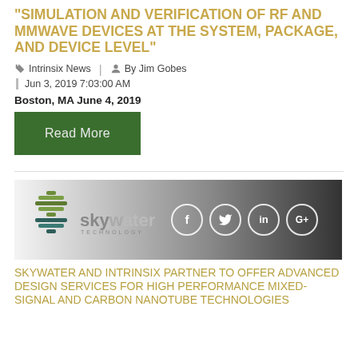"SIMULATION AND VERIFICATION OF RF AND MMWAVE DEVICES AT THE SYSTEM, PACKAGE, AND DEVICE LEVEL"
Intrinsix News  |  By Jim Gobes
Jun 3, 2019 7:03:00 AM
Boston, MA June 4, 2019
Read More
[Figure (logo): SkyWater Technology logo on a dark gradient background with social media icons (f, Twitter bird, in, G+) overlaid]
SKYWATER AND INTRINSIX PARTNER TO OFFER ADVANCED DESIGN SERVICES FOR HIGH PERFORMANCE MIXED-SIGNAL AND CARBON NANOTUBE TECHNOLOGIES